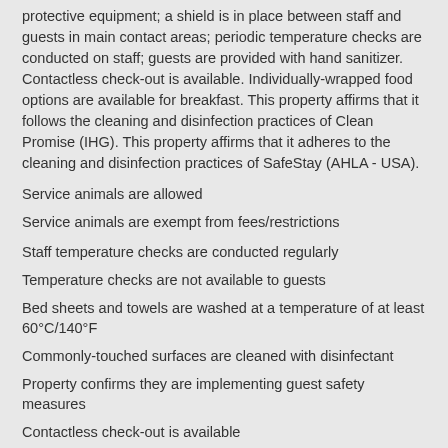protective equipment; a shield is in place between staff and guests in main contact areas; periodic temperature checks are conducted on staff; guests are provided with hand sanitizer. Contactless check-out is available. Individually-wrapped food options are available for breakfast. This property affirms that it follows the cleaning and disinfection practices of Clean Promise (IHG). This property affirms that it adheres to the cleaning and disinfection practices of SafeStay (AHLA - USA).
Service animals are allowed
Service animals are exempt from fees/restrictions
Staff temperature checks are conducted regularly
Temperature checks are not available to guests
Bed sheets and towels are washed at a temperature of at least 60°C/140°F
Commonly-touched surfaces are cleaned with disinfectant
Property confirms they are implementing guest safety measures
Contactless check-out is available
Property is cleaned with disinfectant
Staff wears personal protective equipment
Property follows sanitization practices of SafeStay (AHLA - USA)
Debit cards not accepted